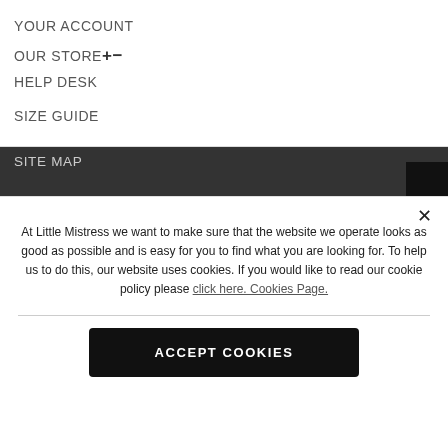YOUR ACCOUNT
OUR STORE +−
HELP DESK
SIZE GUIDE
SITE MAP
COOKIE POLICY
At Little Mistress we want to make sure that the website we operate looks as good as possible and is easy for you to find what you are looking for. To help us to do this, our website uses cookies. If you would like to read our cookie policy please click here. Cookies Page.
ACCEPT COOKIES